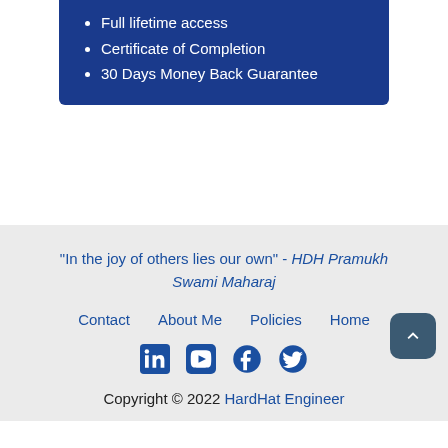[Figure (other): Blue box with bullet list: Full lifetime access, Certificate of Completion, 30 Days Money Back Guarantee]
Full lifetime access
Certificate of Completion
30 Days Money Back Guarantee
"In the joy of others lies our own" - HDH Pramukh Swami Maharaj
Contact   About Me   Policies   Home
Copyright © 2022 HardHat Engineer